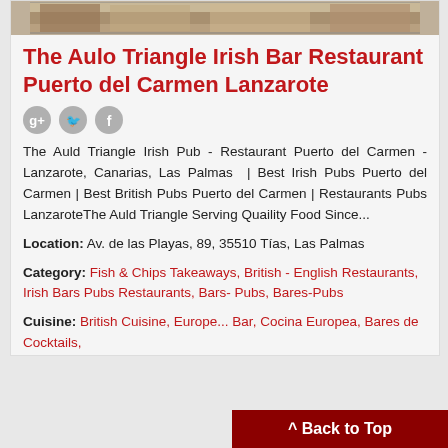[Figure (photo): Photo strip of The Auld Triangle Irish Bar Restaurant interior/exterior]
The Aulo Triangle Irish Bar Restaurant Puerto del Carmen Lanzarote
[Figure (other): Social media icons: Google+, Twitter, Facebook]
The Auld Triangle Irish Pub - Restaurant Puerto del Carmen - Lanzarote, Canarias, Las Palmas | Best Irish Pubs Puerto del Carmen | Best British Pubs Puerto del Carmen | Restaurants Pubs LanzaroteThe Auld Triangle Serving Quaility Food Since...
Location: Av. de las Playas, 89, 35510 Tías, Las Palmas
Category: Fish & Chips Takeaways, British - English Restaurants, Irish Bars Pubs Restaurants, Bars- Pubs, Bares-Pubs
Cuisine: British Cuisine, Europe... Bar, Cocina Europea, Bares de Cocktails,